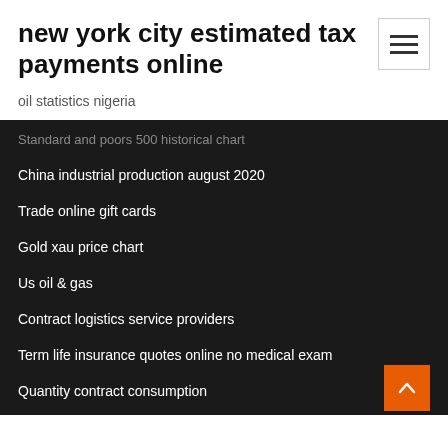new york city estimated tax payments online
oil statistics nigeria
Standard and poors 500 historical chart
China industrial production august 2020
Trade online gift cards
Gold xau price chart
Us oil & gas
Contract logistics service providers
Term life insurance quotes online no medical exam
Quantity contract consumption
Crude oil discovery in bauchi state